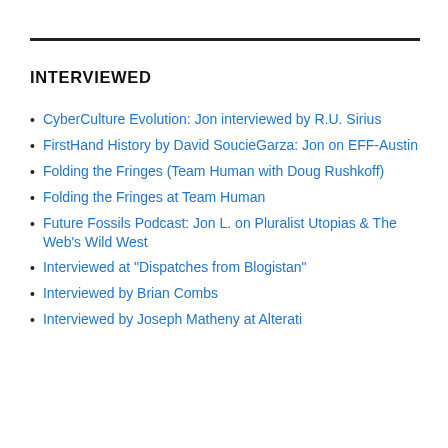INTERVIEWED
CyberCulture Evolution: Jon interviewed by R.U. Sirius
FirstHand History by David SoucieGarza: Jon on EFF-Austin
Folding the Fringes (Team Human with Doug Rushkoff)
Folding the Fringes at Team Human
Future Fossils Podcast: Jon L. on Pluralist Utopias & The Web's Wild West
Interviewed at "Dispatches from Blogistan"
Interviewed by Brian Combs
Interviewed by Joseph Matheny at Alterati